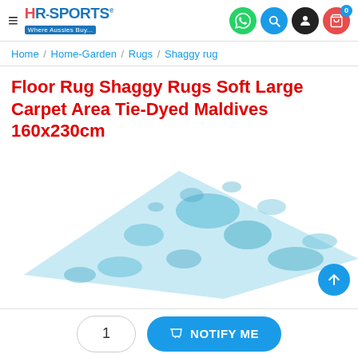HR-SPORTS Where Aussies Buy...
Home / Home-Garden / Rugs / Shaggy rug
Floor Rug Shaggy Rugs Soft Large Carpet Area Tie-Dyed Maldives 160x230cm
[Figure (photo): Shaggy tie-dyed rug in blue and white colors, viewed from above at an angle showing the corner of the rug]
1  NOTIFY ME